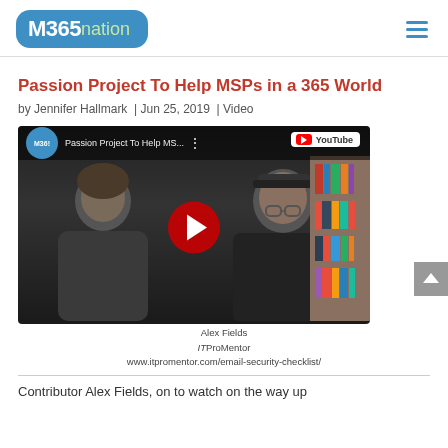M365nation
Passion Project To Help MSPs in a 365 World
by Jennifer Hallmark | Jun 25, 2019 | Video
[Figure (screenshot): YouTube video thumbnail showing two people in a video call, with a red play button overlay. Top bar shows M365 logo and title 'Passion Project To Help MS...' with YouTube badge in top right.]
Alex Fields
ITProMentor
www.itpromentor.com/email-security-checklist/
Contributor Alex Fields, on to watch on the way up